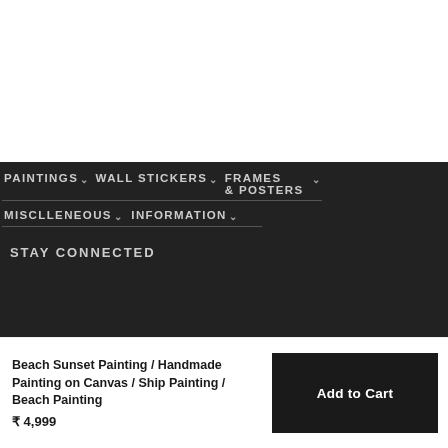PAINTINGS  WALL STICKERS  FRAMES & POSTERS
MISCLLENEOUS  INFORMATION
STAY CONNECTED
Beach Sunset Painting / Handmade Painting on Canvas / Ship Painting / Beach Painting
₹ 4,999
Add to Cart